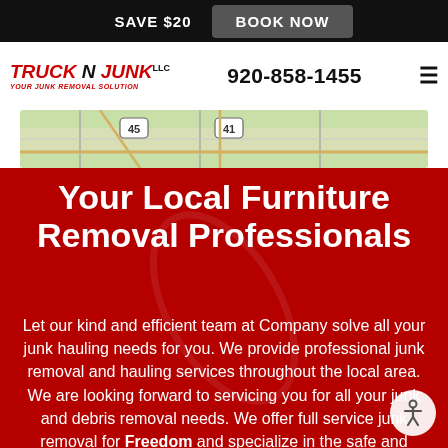SAVE $20 | BOOK NOW
[Figure (logo): Truck N Junk LLC logo with tagline YOUR JUNK REMOVAL SOLUTION]
920-858-1455
[Figure (map): Partial map showing highway routes 45 and 41]
Your Local Furniture Removal Professionals
Let our kind and efficient team at Company solve all your junk hauling needs for you. We provide professional junk removal and hauling services throughout the local area. We are looking forward to servicing you for all your junk and debris removal needs. We offer full service junk removal for Freedom and specialize in the safe and efficient removal of large, bulky items and...